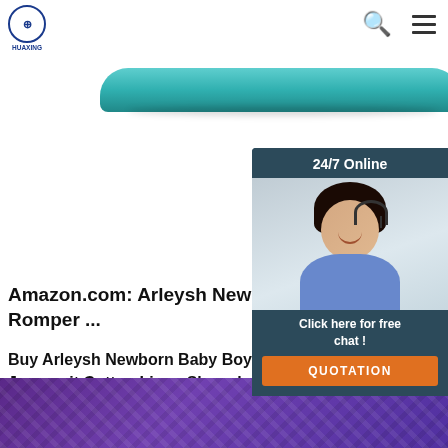HUAXING SPORTS
[Figure (photo): Teal/turquoise curved product bar (likely sporting equipment) partially visible at top of page]
[Figure (photo): 24/7 Online chat widget with female customer service agent wearing headset, smiling, with 'Click here for free chat!' text and QUOTATION button]
Amazon.com: Arleysh Newborn Baby B Romper ...
Buy Arleysh Newborn Baby Boys Girls Jumpsuit Cotton Linen Sleeveless Ruff Bodysuit Infant Summer Clothes Outfi other Rompers at Amazon.com. Our w selection is elegible for free shipping a returns.
[Figure (other): Get Price orange button]
[Figure (other): TOP back-to-top button with red dots and triangle arrow]
[Figure (photo): Purple textured fabric/material image at bottom of page]